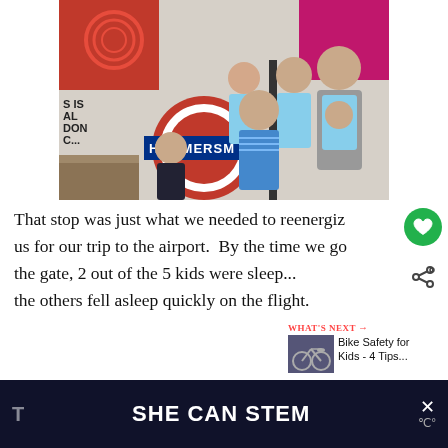[Figure (photo): Family photo at Hammersmith London Underground station. A woman with a baby carrier stands with several children in front of the iconic red and blue London Underground roundel sign showing 'HAMMERSM...']
That stop was just what we needed to reenergize us for our trip to the airport.  By the time we got the gate, 2 out of the 5 kids were sleeping and the others fell asleep quickly on the flight.
[Figure (photo): What's Next thumbnail - Bike Safety for Kids - 4 Tips...]
WHAT'S NEXT → Bike Safety for Kids - 4 Tips...
[Figure (other): SHE CAN STEM advertisement banner on dark background]